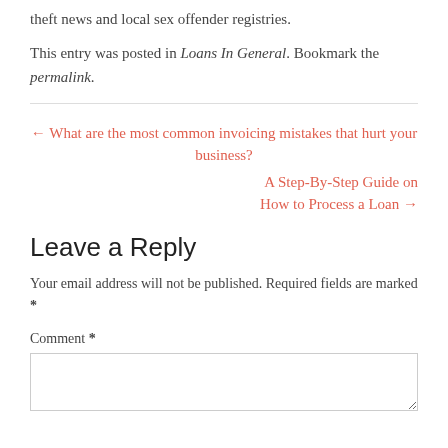theft news and local sex offender registries.
This entry was posted in Loans In General. Bookmark the permalink.
← What are the most common invoicing mistakes that hurt your business?
A Step-By-Step Guide on How to Process a Loan →
Leave a Reply
Your email address will not be published. Required fields are marked *
Comment *